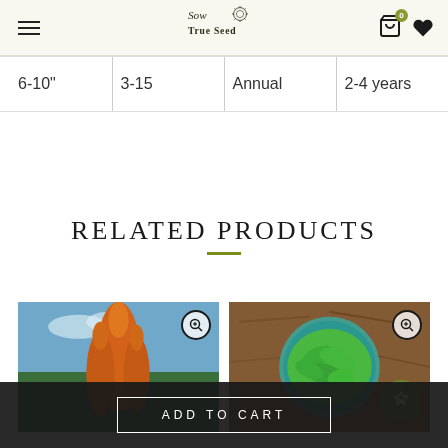Sow True Seed — navigation header with logo, menu, cart (0), and wishlist icons
| 6-10" | 3-15 | Annual | 2-4 years |
RELATED PRODUCTS
[Figure (photo): Product thumbnail of orange/red feathery amaranth plant against blue sky with trees]
[Figure (photo): Product thumbnail of fresh green spinach leaves in a teal bowl on brown mulch, with a sale/tag badge]
ADD TO CART